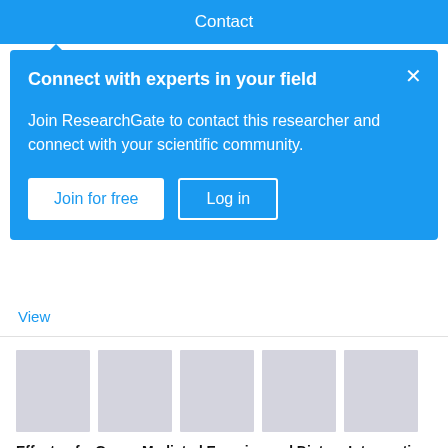Contact
Connect with experts in your field
Join ResearchGate to contact this researcher and connect with your scientific community.
Join for free   Log in
View
[Figure (screenshot): Five grey placeholder thumbnail images in a row]
Effects of a Group-Mediated Exercise and Dietary Intervention in the Treatment of Prostate Cancer Patients Undergoing Androgen Deprivation Therapy: Results From the IDEA-P Trial
Article   Full-text available